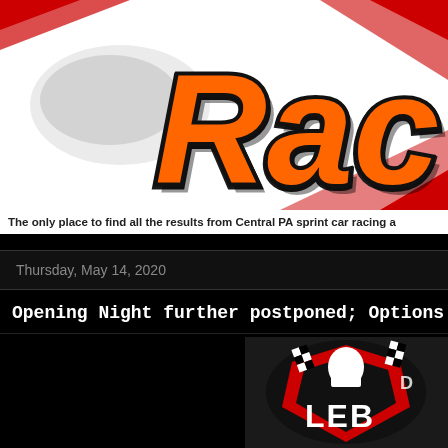[Figure (logo): Racing website logo with large orange script text 'Rac' on white background with red diagonal stripes]
The only place to find all the results from Central PA sprint car racing a
Thursday, May 14, 2020
Opening Night further postponed; Options
[Figure (logo): Dark background logo with sprint car racing imagery, red shield with 'LEB' text and checkered flag]